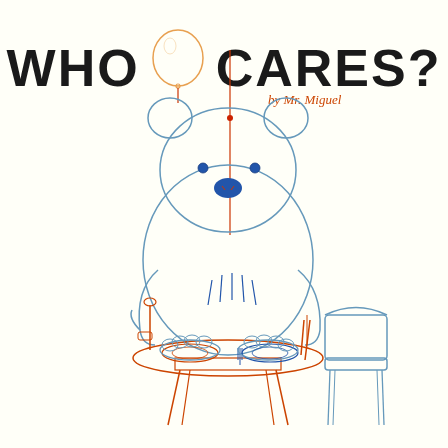WHO CARES?
by Mr. Miguel
[Figure (illustration): A large polar bear drawn in a simple line-art style sits at a dining table. The bear holds a fork and spoon, with two plates and utensils on the table. A balloon is tied to the bear's chest with a red/orange string. The bear has blue eyes and a blue nose. A small empty chair sits to the right of the table. The illustration uses orange and blue line work on a cream background.]